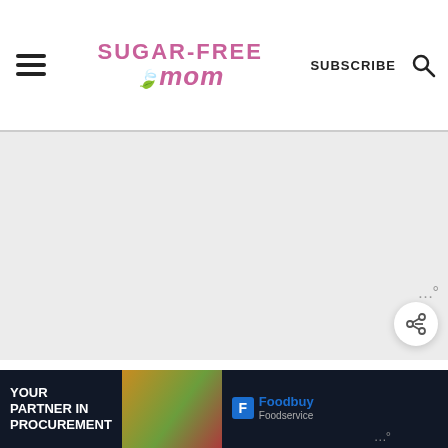Sugar-Free Mom — SUBSCRIBE [search icon]
[Figure (photo): Large light gray image placeholder area for a food/recipe photo]
I made this beauty for my birthday this year, which was shared on Thanksgiving and
[Figure (other): Advertisement banner: YOUR PARTNER IN PROCUREMENT — Foodbuy Foodservice — with food image]